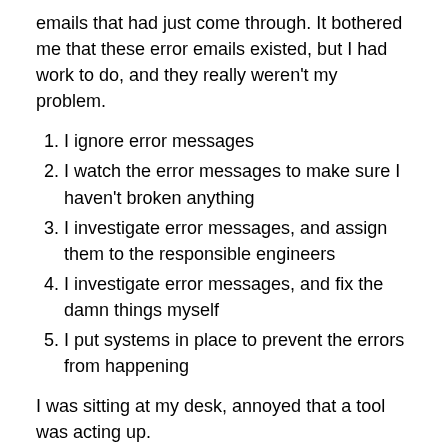emails that had just come through. It bothered me that these error emails existed, but I had work to do, and they really weren't my problem.
I ignore error messages
I watch the error messages to make sure I haven't broken anything
I investigate error messages, and assign them to the responsible engineers
I investigate error messages, and fix the damn things myself
I put systems in place to prevent the errors from happening
I was sitting at my desk, annoyed that a tool was acting up.
I use tools built by other people